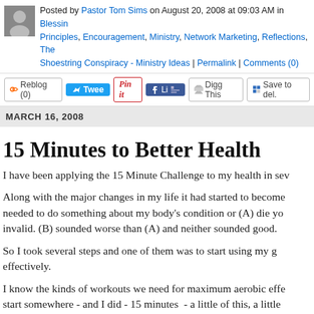Posted by Pastor Tom Sims on August 20, 2008 at 09:03 AM in Blessing Principles, Encouragement, Ministry, Network Marketing, Reflections, The Shoestring Conspiracy - Ministry Ideas | Permalink | Comments (0)
Reblog (0) Tweet Pin it Like Digg This Save to del...
MARCH 16, 2008
15 Minutes to Better Health
I have been applying the 15 Minute Challenge to my health in sev...
Along with the major changes in my life it had started to become... needed to do something about my body's condition or (A) die yo... invalid. (B) sounded worse than (A) and neither sounded good.
So I took several steps and one of them was to start using my g... effectively.
I know the kinds of workouts we need for maximum aerobic effe... start somewhere - and I did - 15 minutes  - a little of this, a little ... and a lot of hot tub.